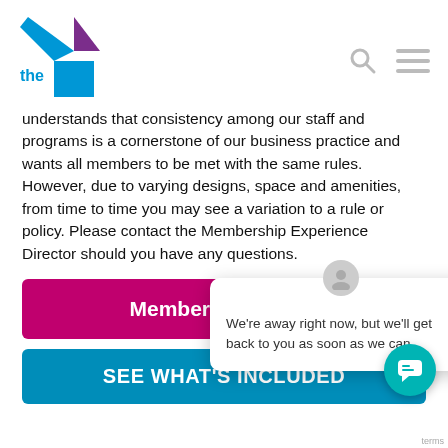[Figure (logo): YMCA logo with blue and purple Y shape and 'the YMCA' text]
understands that consistency among our staff and programs is a cornerstone of our business practice and wants all members to be met with the same rules. However, due to varying designs, space and amenities, from time to time you may see a variation to a rule or policy. Please contact the Membership Experience Director should you have any questions.
We're away right now, but we'll get back to you as soon as we can.
Membership Guide
SEE WHAT'S INCLUDED